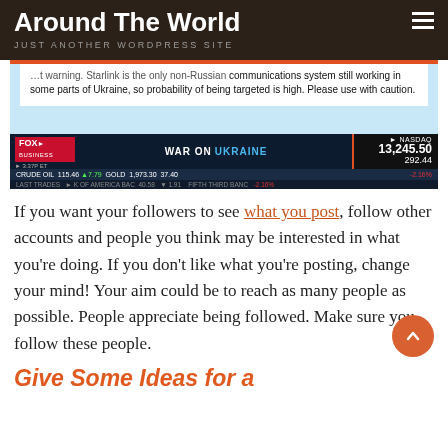Around The World
JUST ANOTHER WORDPRESS SITE
[Figure (screenshot): Fox Business News screenshot showing a Starlink warning message about Ukraine, with WAR ON UKRAINE chyron, NASDAQ 13,245.50 down 292.44 (-2.16%), CRUDE OIL 115.46, GOLD 1,973.30]
If you want your followers to see what you post, follow other accounts and people you think may be interested in what you're doing. If you don't like what you're posting, change your mind! Your aim could be to reach as many people as possible. People appreciate being followed. Make sure you follow these people.
Give Some Ideas for a